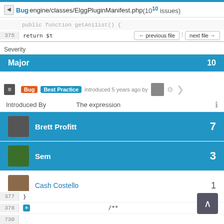Bug engine/classes/ElggPluginManifest.php (10 issues)
375    return $t   ← previous file   next file →
Major   10
Bug  Best Practice  introduced 5 years ago by
Introduced By   The expression   ℹ
Brett Profitt   7
Sem   3
Cash Costello   1
377    }
378 +   /**
730